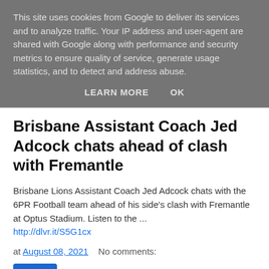This site uses cookies from Google to deliver its services and to analyze traffic. Your IP address and user-agent are shared with Google along with performance and security metrics to ensure quality of service, generate usage statistics, and to detect and address abuse.
LEARN MORE   OK
Brisbane Assistant Coach Jed Adcock chats ahead of clash with Fremantle
Brisbane Lions Assistant Coach Jed Adcock chats with the 6PR Football team ahead of his side's clash with Fremantle at Optus Stadium. Listen to the ...
http://dlvr.it/S5G1cx
at August 08, 2021    No comments:
Share